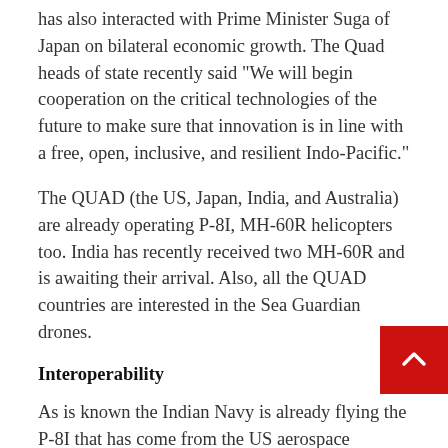has also interacted with Prime Minister Suga of Japan on bilateral economic growth. The Quad heads of state recently said "We will begin cooperation on the critical technologies of the future to make sure that innovation is in line with a free, open, inclusive, and resilient Indo-Pacific."
The QUAD (the US, Japan, India, and Australia) are already operating P-8I, MH-60R helicopters too. India has recently received two MH-60R and is awaiting their arrival. Also, all the QUAD countries are interested in the Sea Guardian drones.
Interoperability
As is known the Indian Navy is already flying the P-8I that has come from the US aerospace company for the carrying out anti-submarine warfare and surveillance. And when the Sea Guardians drones deal is done, they will further strengthen the Indian Navy's maritime reconnaissance. And it will be able to expand its area of surveillance and monitoring of the IOR as well as coastal boundaries and assets.